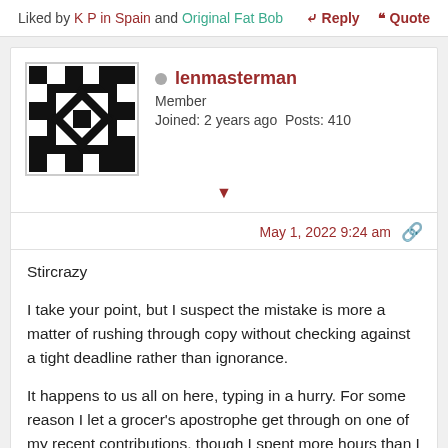Liked by K P in Spain and Original Fat Bob
Reply  Quote
lenmasterman
Member
Joined: 2 years ago  Posts: 410
May 1, 2022 9:24 am
Stircrazy
I take your point, but I suspect the mistake is more a matter of rushing through copy without checking against a tight deadline rather than ignorance.
It happens to us all on here, typing in a hurry. For some reason I let a grocer's apostrophe get through on one of my recent contributions, though I spent more hours than I care to remember teaching about apostrophes in secondary school English to school...